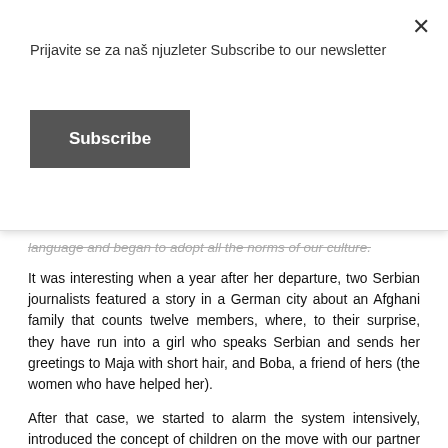Prijavite se za naš njuzleter Subscribe to our newsletter
Subscribe
language and began to adopt all the norms of our culture.
It was interesting when a year after her departure, two Serbian journalists featured a story in a German city about an Afghani family that counts twelve members, where, to their surprise, they have run into a girl who speaks Serbian and sends her greetings to Maja with short hair, and Boba, a friend of hers (the women who have helped her).
After that case, we started to alarm the system intensively, introduced the concept of children on the move with our partner organization Save the Children, and started reforming the system tailored to these children.
"VREME": Is the issue of human trafficking in a way has been suppressed by other issues that go along with the refugee crisis, such as human trafficking, conflict and accidents with